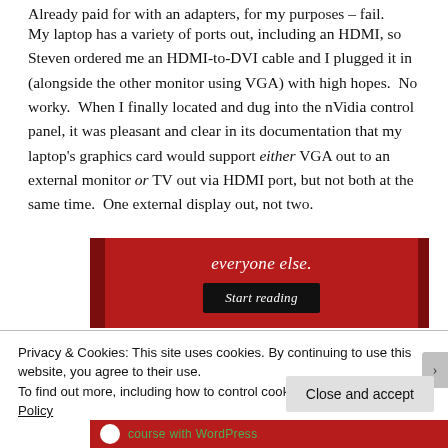Already paid for with an adapters, for my purposes – fail.
My laptop has a variety of ports out, including an HDMI, so Steven ordered me an HDMI-to-DVI cable and I plugged it in (alongside the other monitor using VGA) with high hopes.  No worky.  When I finally located and dug into the nVidia control panel, it was pleasant and clear in its documentation that my laptop's graphics card would support either VGA out to an external monitor or TV out via HDMI port, but not both at the same time.  One external display out, not two.
[Figure (screenshot): Red advertisement banner with 'everyone else.' text (partially visible) and a 'Start reading' button]
Privacy & Cookies: This site uses cookies. By continuing to use this website, you agree to their use.
To find out more, including how to control cookies, see here: Cookie Policy
Close and accept